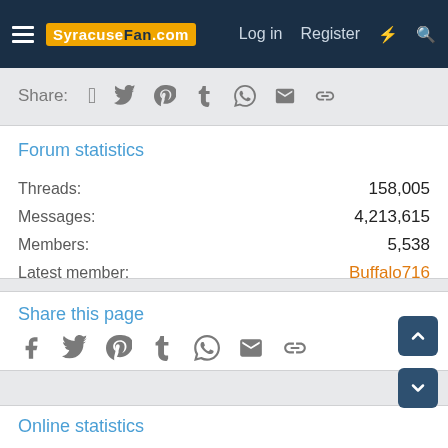[Figure (screenshot): SyracuseFan.com navigation bar with hamburger menu, logo, Log in, Register, lightning bolt, and search icons on dark navy background]
[Figure (screenshot): Share bar with social media icons: Facebook, Twitter, Pinterest, Tumblr, WhatsApp, Email, Link on gray background]
Forum statistics
Threads: 158,005
Messages: 4,213,615
Members: 5,538
Latest member: Buffalo716
Share this page
[Figure (screenshot): Share icons row: Facebook, Twitter, Pinterest, Tumblr, WhatsApp, Email, Link]
Online statistics
Members online: 295